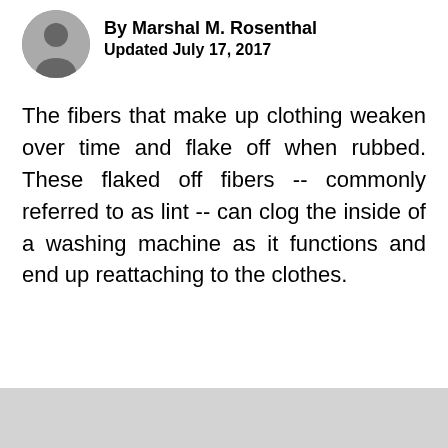By Marshal M. Rosenthal
Updated July 17, 2017
The fibers that make up clothing weaken over time and flake off when rubbed. These flaked off fibers -- commonly referred to as lint -- can clog the inside of a washing machine as it functions and end up reattaching to the clothes.